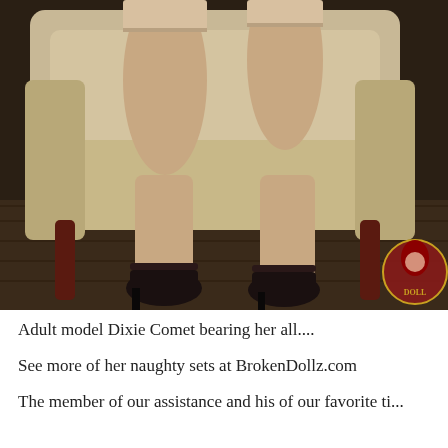[Figure (photo): A photo of adult model Dixie Comet wearing stockings and high heels, seated on a vintage upholstered chair. A logo is visible in the lower right corner.]
Adult model Dixie Comet bearing her all....
See more of her naughty sets at BrokenDollz.com
The member of our assistance and his of our favorite ti...